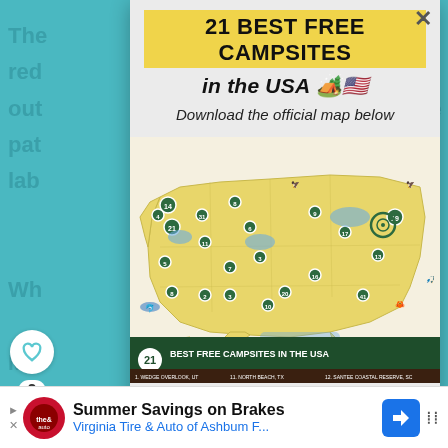21 BEST FREE CAMPSITES in the USA 🏕️🇺🇸
Download the official map below
[Figure (map): Illustrated map of the USA showing 21 best free campsites, with numbered markers and icons for each campsite location across the country. Bottom banner reads '21 BEST FREE CAMPSITES IN THE USA' with location list below.]
Summer Savings on Brakes
Virginia Tire & Auto of Ashbum F...